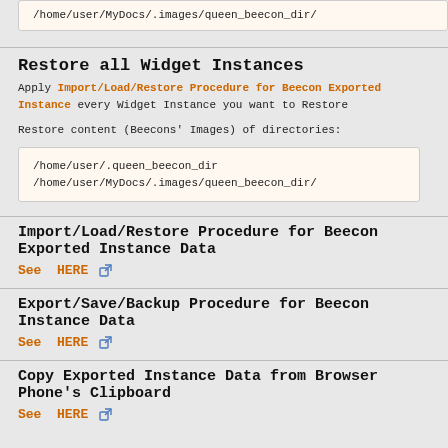/home/user/MyDocs/.images/queen_beecon_dir/
Restore all Widget Instances
Apply Import/Load/Restore Procedure for Beecon Exported Instance every Widget Instance you want to Restore
Restore content (Beecons' Images) of directories:
/home/user/.queen_beecon_dir
/home/user/MyDocs/.images/queen_beecon_dir/
Import/Load/Restore Procedure for Beecon Exported Instance Data
See HERE
Export/Save/Backup Procedure for Beecon Instance Data
See HERE
Copy Exported Instance Data from Browser Phone's Clipboard
See HERE